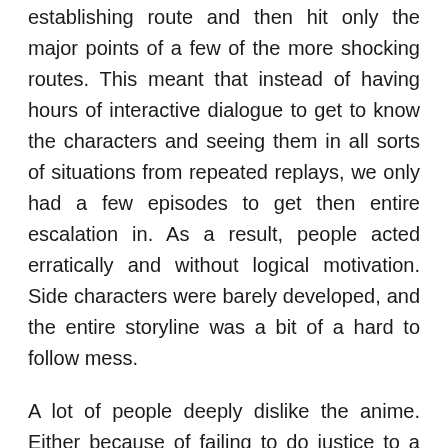establishing route and then hit only the major points of a few of the more shocking routes. This meant that instead of having hours of interactive dialogue to get to know the characters and seeing them in all sorts of situations from repeated replays, we only had a few episodes to get then entire escalation in. As a result, people acted erratically and without logical motivation. Side characters were barely developed, and the entire storyline was a bit of a hard to follow mess.
A lot of people deeply dislike the anime. Either because of failing to do justice to a rather influential game or just because they found it to be bad on its own merits. And I thought that was simply the general opinion. Until I saw a lot of people, I follow on Twitter unironically (I think) defend this series. Calling it brilliant and woefully underrated. One of the best anime they had ever watched.